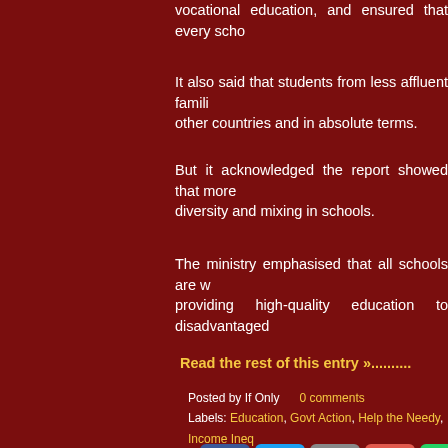vocational education, and ensured that every scho...
It also said that students from less affluent famili... other countries and in absolute terms.
But it acknowledged the report showed that more... diversity and mixing in schools.
The ministry emphasised that all schools are w... providing high-quality education to disadvantaged...
Read the rest of this entry »..........
Posted by If Only     0 comments
Labels: Education, Govt Action, Help the Needy, Income Ineq... Singapore, Social Equity, Survey, Trade-Offs, Video
[Figure (other): Social sharing buttons: Facebook, Twitter, Email, Plus, WhatsApp]
Wednesday, 24 October 2018